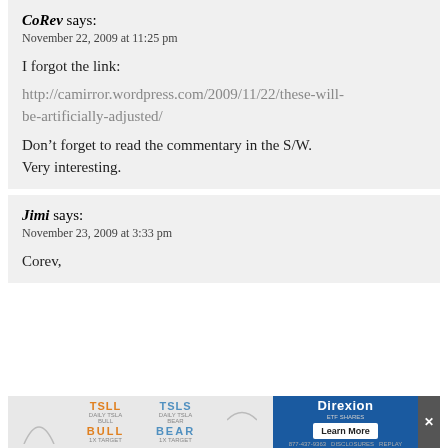CoRev says:
November 22, 2009 at 11:25 pm
I forgot the link:
http://camirror.wordpress.com/2009/11/22/these-will-be-artificially-adjusted/
Don’t forget to read the commentary in the S/W. Very interesting.
Jimi says:
November 23, 2009 at 3:33 pm
Corev,
[Figure (advertisement): Advertisement bar showing TSLL Bull and TSLS Bear ETF sections alongside a Direxion blue panel with Learn More button and a close X button]